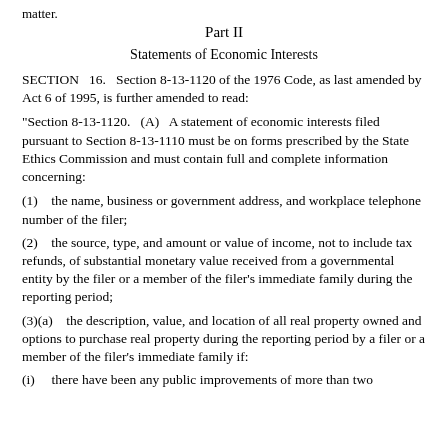matter.
Part II
Statements of Economic Interests
SECTION 16. Section 8-13-1120 of the 1976 Code, as last amended by Act 6 of 1995, is further amended to read:
"Section 8-13-1120. (A) A statement of economic interests filed pursuant to Section 8-13-1110 must be on forms prescribed by the State Ethics Commission and must contain full and complete information concerning:
(1) the name, business or government address, and workplace telephone number of the filer;
(2) the source, type, and amount or value of income, not to include tax refunds, of substantial monetary value received from a governmental entity by the filer or a member of the filer's immediate family during the reporting period;
(3)(a) the description, value, and location of all real property owned and options to purchase real property during the reporting period by a filer or a member of the filer's immediate family if:
(i) there have been any public improvements of more than two